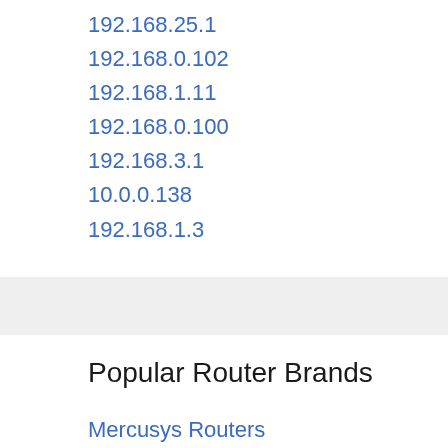192.168.25.1
192.168.0.102
192.168.1.11
192.168.0.100
192.168.3.1
10.0.0.138
192.168.1.3
Popular Router Brands
Mercusys Routers
ZyXEL Routers
ZTE Routers